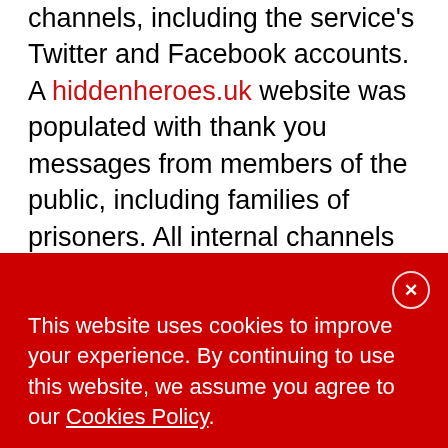channels, including the service's Twitter and Facebook accounts. A hiddenheroes.uk website was populated with thank you messages from members of the public, including families of prisoners. All internal channels were also used, including intranet blogs and all staff emails, while Hidden Heroes posters and paper newsletters were displayed in secure settings for those staff who do not regularly access the intranet. Letters of thanks from ministers, politicians and senior officials within the service were shared on the
This website uses cookies to improve your experience. By continuing to use this website, we assume you agree to our Cookies Policy.